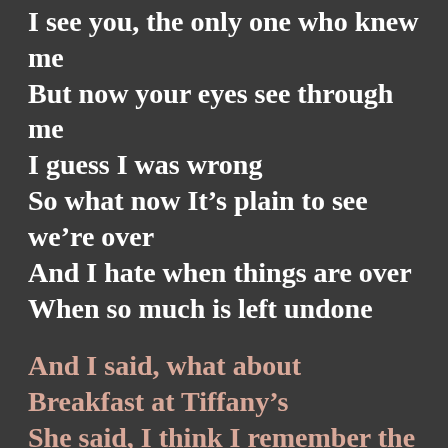I see you, the only one who knew me
But now your eyes see through me
I guess I was wrong
So what now It’s plain to see we’re over
And I hate when things are over
When so much is left undone
And I said, what about
Breakfast at Tiffany’s
She said, I think I remember the film
And as I recall, I think
We both kinda liked it
And I said, well, that’s
The one thing we’ve got